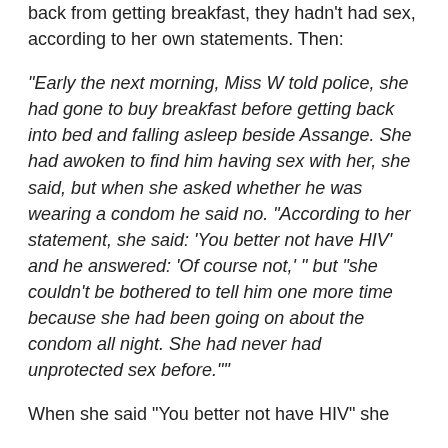back from getting breakfast, they hadn't had sex, according to her own statements. Then:
“Early the next morning, Miss W told police, she had gone to buy breakfast before getting back into bed and falling asleep beside Assange. She had awoken to find him having sex with her, she said, but when she asked whether he was wearing a condom he said no. “According to her statement, she said: ‘You better not have HIV’ and he answered: ‘Of course not,’ ” but “she couldn’t be bothered to tell him one more time because she had been going on about the condom all night. She had never had unprotected sex before.””
When she said “You better not have HIV” she